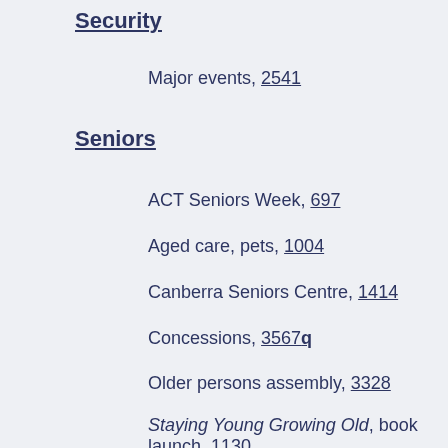Security
Major events, 2541
Seniors
ACT Seniors Week, 697
Aged care, pets, 1004
Canberra Seniors Centre, 1414
Concessions, 3567q
Older persons assembly, 3328
Staying Young Growing Old, book launch, 1130
Sewerage
Pricing, 925, 1272